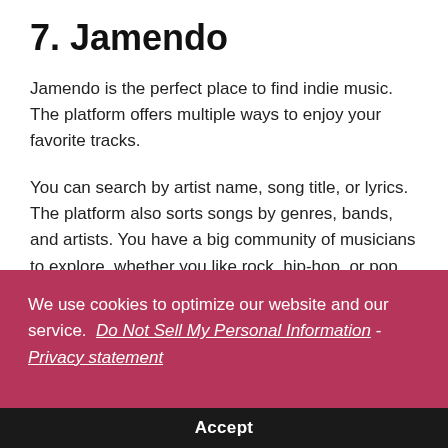7. Jamendo
Jamendo is the perfect place to find indie music. The platform offers multiple ways to enjoy your favorite tracks.
You can search by artist name, song title, or lyrics. The platform also sorts songs by genres, bands, and artists. You have a big community of musicians to explore, whether you like rock, hip-hop, or pop music.
We use cookies to optimize our website and our service.  Do Not Sell My Personal Information - Privacy statement
Accept
playlists and download many songs.